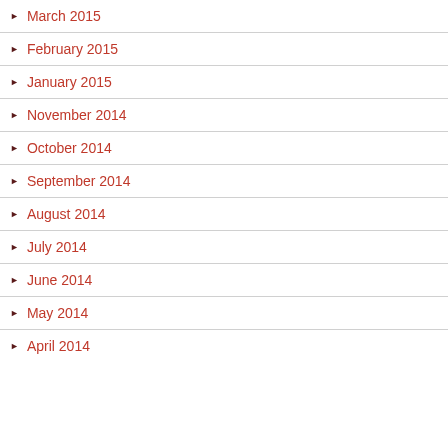March 2015
February 2015
January 2015
November 2014
October 2014
September 2014
August 2014
July 2014
June 2014
May 2014
April 2014